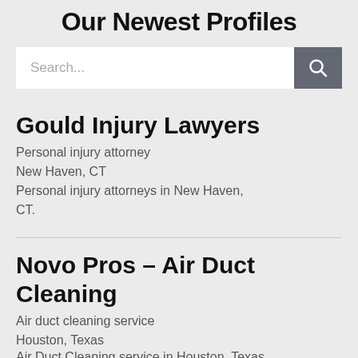Our Newest Profiles
[Figure (screenshot): Search input bar with placeholder text 'Search...' and a dark grey search button with magnifying glass icon]
Gould Injury Lawyers
Personal injury attorney
New Haven, CT
Personal injury attorneys in New Haven, CT.
Novo Pros – Air Duct Cleaning
Air duct cleaning service
Houston, Texas
Air Duct Cleaning service in Houston, Texas